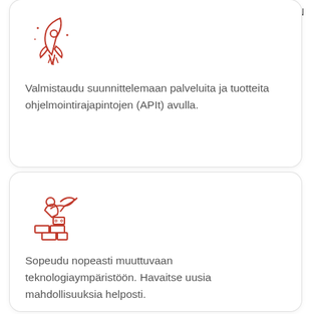FI  EN
[Figure (illustration): Red outline icon of a rocket launching]
Valmistaudu suunnittelemaan palveluita ja tuotteita ohjelmointirajapintojen (APIt) avulla.
[Figure (illustration): Red outline icon of a robotic arm or figure building with blocks]
Sopeudu nopeasti muuttuvaan teknologiaympäristöön. Havaitse uusia mahdollisuuksia helposti.